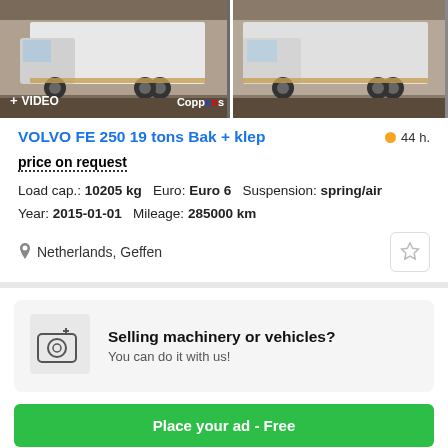[Figure (photo): Two white Volvo FE 250 trucks with box bodies photographed from the side. Left photo shows truck with '+ VIDEO' badge and 'Coppens' watermark. Right photo shows another angle of similar truck.]
VOLVO FE 250 19 tons Bak + klep
44 h.
price on request
Load cap.: 10205 kg  Euro: Euro 6  Suspension: spring/air  Year: 2015-01-01  Mileage: 285000 km
Netherlands, Geffen
[Figure (illustration): Camera with plus sign icon for selling machinery or vehicles promo box]
Selling machinery or vehicles? You can do it with us!
Place your ad - Free